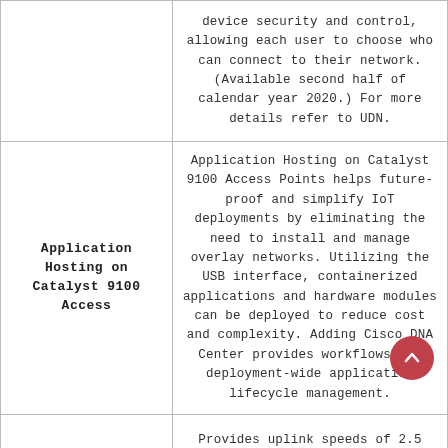| Feature | Description |
| --- | --- |
|  | device security and control, allowing each user to choose who can connect to their network. (Available second half of calendar year 2020.) For more details refer to UDN. |
| Application Hosting on Catalyst 9100 Access | Application Hosting on Catalyst 9100 Access Points helps future-proof and simplify IoT deployments by eliminating the need to install and manage overlay networks. Utilizing the USB interface, containerized applications and hardware modules can be deployed to reduce cost and complexity. Adding Cisco DNA Center provides workflows and deployment-wide application lifecycle management. |
| Multigigabit Ethernet support | Provides uplink speeds of 2.5 Gbps, in addition to 100 Mbps and 1 Gbps. All speeds are supported on Category 5e cabling for an industry first, as well as 10GBASE-T (IEEE 802.3bz) cabling. |